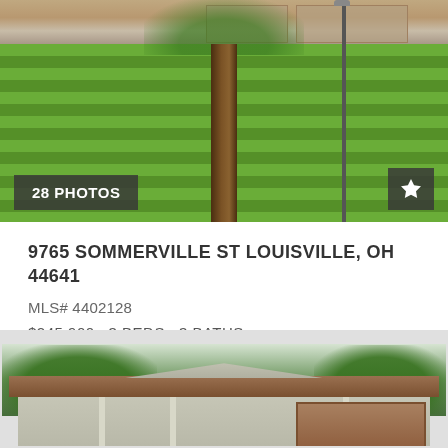[Figure (photo): Exterior photo of residential property at 9765 Sommerville St Louisville, OH 44641, showing green lawn with large tree, brick house visible in background, overlaid with '28 PHOTOS' badge and star icon]
9765 SOMMERVILLE ST LOUISVILLE, OH 44641
MLS# 4402128
$245,900   3 BEDS   3 BATHS
[Figure (photo): Exterior photo of second residential property, showing single-story home with covered porch/garage, brown roof, surrounded by large trees]